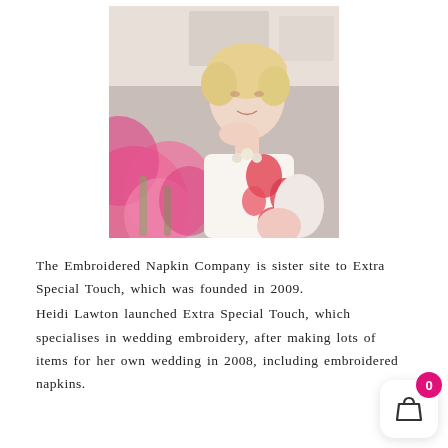[Figure (photo): Portrait photo of a blonde woman wearing a white and red floral top, resting her chin on her hand, with pink flowers (tulips) blurred in the foreground, seated in a bright interior setting.]
The Embroidered Napkin Company is sister site to Extra Special Touch, which was founded in 2009.
Heidi Lawton launched Extra Special Touch, which specialises in wedding embroidery, after making lots of items for her own wedding in 2008, including embroidered napkins.